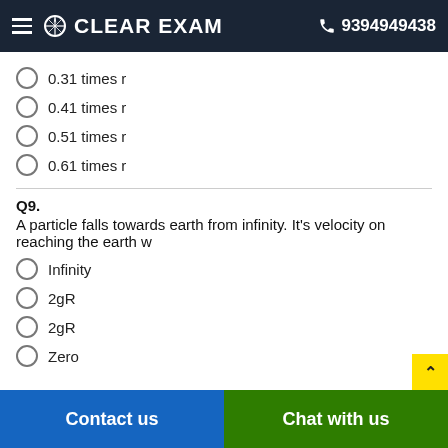CLEAR EXAM  9394949438
0.31 times r
0.41 times r
0.51 times r
0.61 times r
Q9.
A particle falls towards earth from infinity. It's velocity on reaching the earth w
Infinity
2gR
2gR
Zero
Contact us   Chat with us